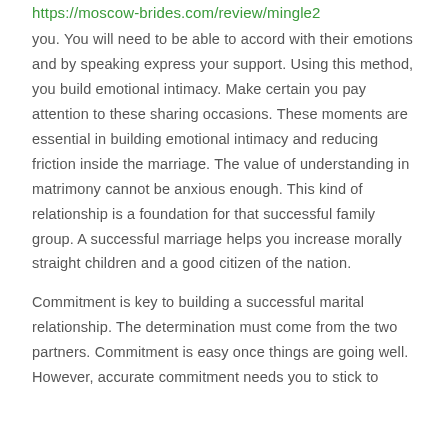https://moscow-brides.com/review/mingle2
you. You will need to be able to accord with their emotions and by speaking express your support. Using this method, you build emotional intimacy. Make certain you pay attention to these sharing occasions. These moments are essential in building emotional intimacy and reducing friction inside the marriage. The value of understanding in matrimony cannot be anxious enough. This kind of relationship is a foundation for that successful family group. A successful marriage helps you increase morally straight children and a good citizen of the nation.
Commitment is key to building a successful marital relationship. The determination must come from the two partners. Commitment is easy once things are going well. However, accurate commitment needs you to stick to